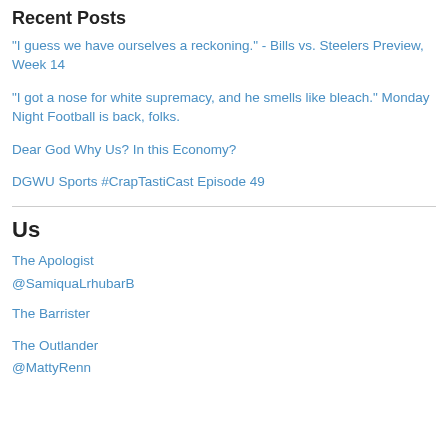Recent Posts
"I guess we have ourselves a reckoning." - Bills vs. Steelers Preview, Week 14
"I got a nose for white supremacy, and he smells like bleach." Monday Night Football is back, folks.
Dear God Why Us? In this Economy?
DGWU Sports #CrapTastiCast Episode 49
Us
The Apologist
@SamiquaLrhubarB
The Barrister
The Outlander
@MattyRenn